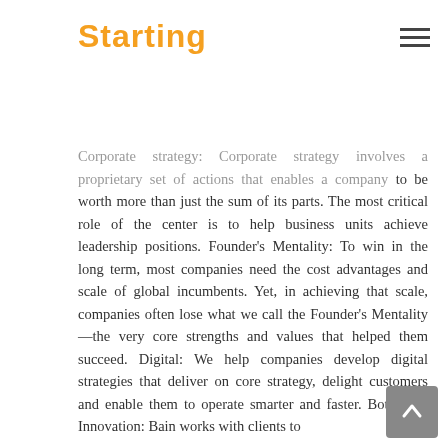Starting
decisions about where to play and how to win. The goal is to enable a business to reach its full e[ntial].
Corporate strategy: Corporate strategy involves a proprietary set of actions that enables a company to be worth more than just the sum of its parts. The most critical role of the center is to help business units achieve leadership positions.
Founder's Mentality: To win in the long term, most companies need the cost advantages and scale of global incumbents. Yet, in achieving that scale, companies often lose what we call the Founder's Mentality—the very core strengths and values that helped them succeed.
Digital: We help companies develop digital strategies that deliver on core strategy, delight customers and enable them to operate smarter and faster.
BothBrain Innovation: Bain works with clients to